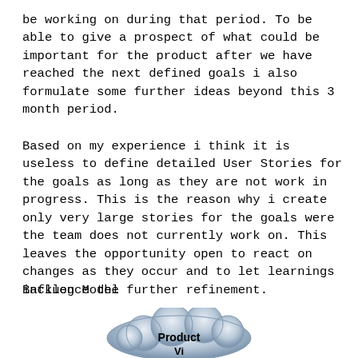be working on during that period. To be able to give a prospect of what could be important for the product after we have reached the next defined goals i also formulate some further ideas beyond this 3 month period.
Based on my experience i think it is useless to define detailed User Stories for the goals as long as they are not work in progress. This is the reason why i create only very large stories for the goals were the team does not currently work on. This leaves the opportunity open to react on changes as they occur and to let learnings influence the further refinement.
Backlog Model
[Figure (illustration): A cloud-shaped diagram element labeled 'Product' with additional text below (partially visible), rendered in a blue-grey gradient style.]